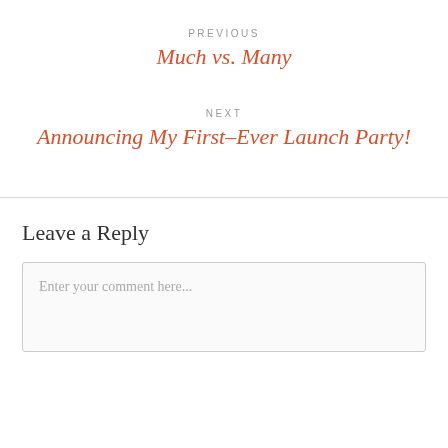PREVIOUS
Much vs. Many
NEXT
Announcing My First–Ever Launch Party!
Leave a Reply
Enter your comment here...